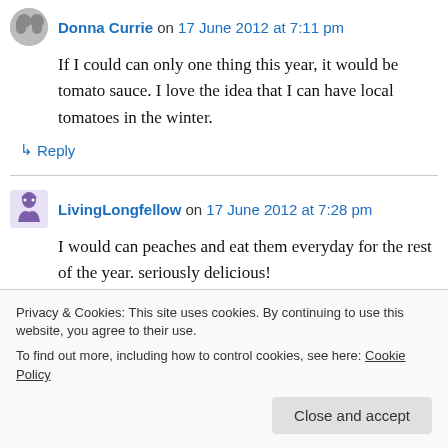Donna Currie on 17 June 2012 at 7:11 pm
If I could can only one thing this year, it would be tomato sauce. I love the idea that I can have local tomatoes in the winter.
↳ Reply
LivingLongfellow on 17 June 2012 at 7:28 pm
I would can peaches and eat them everyday for the rest of the year. seriously delicious!
Privacy & Cookies: This site uses cookies. By continuing to use this website, you agree to their use. To find out more, including how to control cookies, see here: Cookie Policy
Close and accept
If I only can one thing it would be dill pickles my